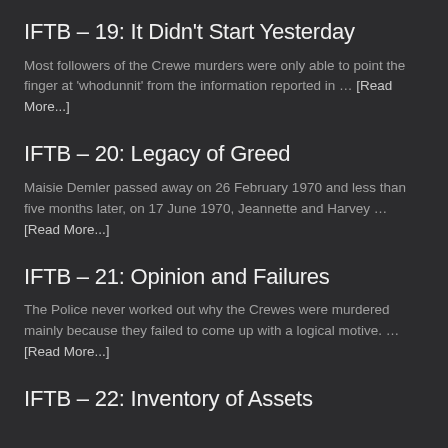IFTB – 19: It Didn't Start Yesterday
Most followers of the Crewe murders were only able to point the finger at 'whodunnit' from the information reported in … [Read More...]
IFTB – 20: Legacy of Greed
Maisie Demler passed away on 26 February 1970 and less than five months later, on 17 June 1970, Jeannette and Harvey … [Read More...]
IFTB – 21: Opinion and Failures
The Police never worked out why the Crewes were murdered mainly because they failed to come up with a logical motive. … [Read More...]
IFTB – 22: Inventory of Assets